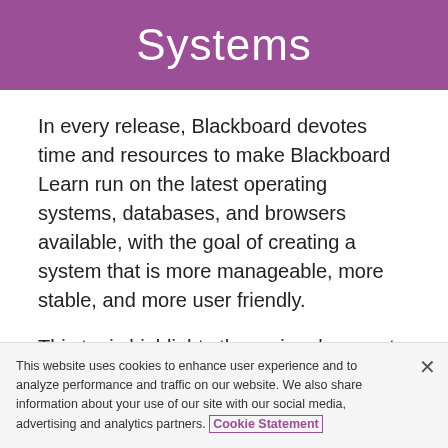Systems
In every release, Blackboard devotes time and resources to make Blackboard Learn run on the latest operating systems, databases, and browsers available, with the goal of creating a system that is more manageable, more stable, and more user friendly.
This topic highlights the major changes to the Supported Technologies and Browsers for this
This website uses cookies to enhance user experience and to analyze performance and traffic on our website. We also share information about your use of our site with our social media, advertising and analytics partners. Cookie Statement